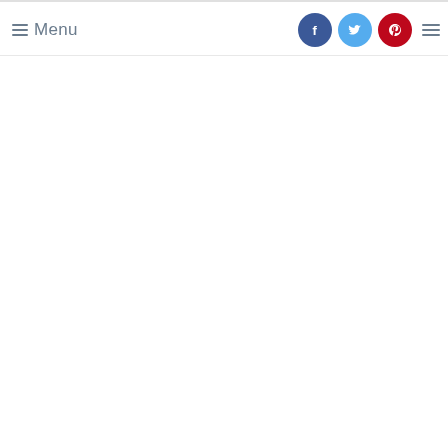Menu | Facebook | Twitter | Pinterest | Menu icon